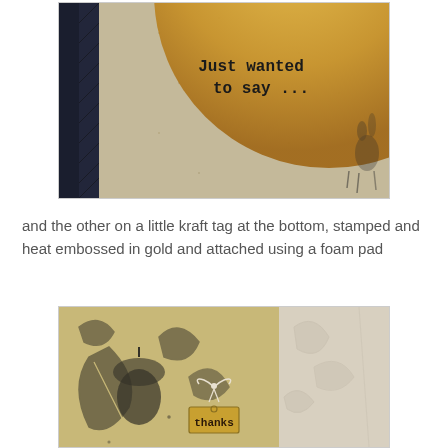[Figure (photo): Close-up photo of a handmade greeting card showing kraft paper background with a large golden/amber circle, stamp text reading 'Just wanted to say ...', dark navy spine and patterned strip on the left, and rabbit silhouette on the right side of the circle.]
and the other on a little kraft tag at the bottom, stamped and heat embossed in gold and attached using a foam pad
[Figure (photo): Close-up photo of the bottom of a handmade card showing golden/amber background with stamped black leaf and acorn botanical designs, a small kraft tag with 'thanks' text attached with white twine bow, and a lighter patterned panel on the right.]